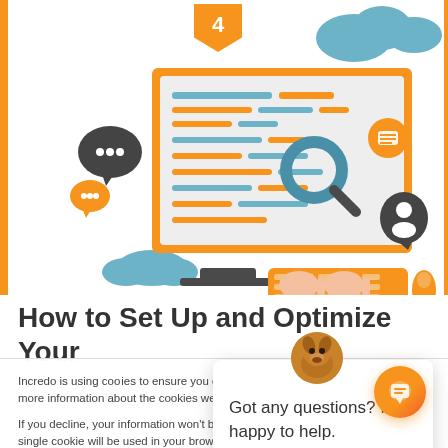[Figure (illustration): Step 4 illustration showing a computer monitor with orange border displaying text lines and a search/magnifying glass icon, clouds, chat bubbles, user icon, keyboard and mouse, and a step 4 pennant badge at top]
How to Set Up and Optimize Your
Incredo is using cookies to ensure you get the solid browsing experience. For more information about the cookies we use, see our Privacy Policy.
If you decline, your information won't be tracked when you visit this website. A single cookie will be used in your browser to remember your preference not to be tracked.
[Figure (illustration): Chat popup with dog avatar photo and text: Got any questions? I'm happy to help.]
[Figure (illustration): Orange chat bubble button in bottom right corner]